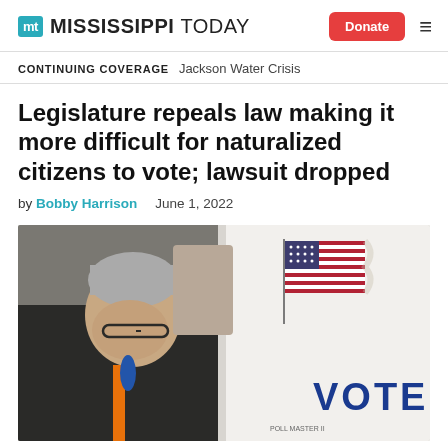MT MISSISSIPPI TODAY | Donate
CONTINUING COVERAGE  Jackson Water Crisis
Legislature repeals law making it more difficult for naturalized citizens to vote; lawsuit dropped
by Bobby Harrison  June 1, 2022
[Figure (photo): An older man with glasses and dark jacket leans over a voting booth. To the right is a white voting booth partition with an American flag and the word VOTE in bold blue letters.]